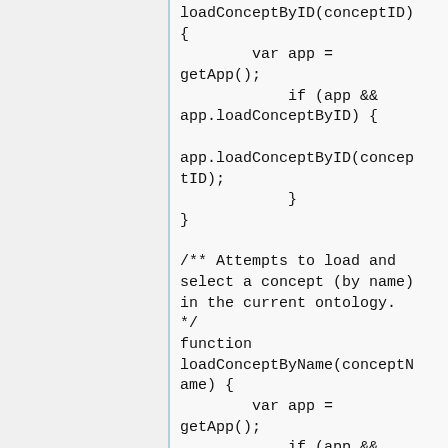loadConceptByID(conceptID)
{
        var app =
getApp();
            if (app &&
app.loadConceptByID) {

app.loadConceptByID(conceptID);
            }
}

/** Attempts to load and
select a concept (by name)
in the current ontology.
*/
function
loadConceptByName(conceptName) {
        var app =
getApp();
            if (app &&
app.loadConceptByName) {

app.loadConceptByName(conc